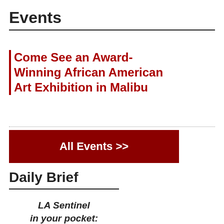Events
Come See an Award-Winning African American Art Exhibition in Malibu
All Events >>
Daily Brief
LA Sentinel in your pocket: